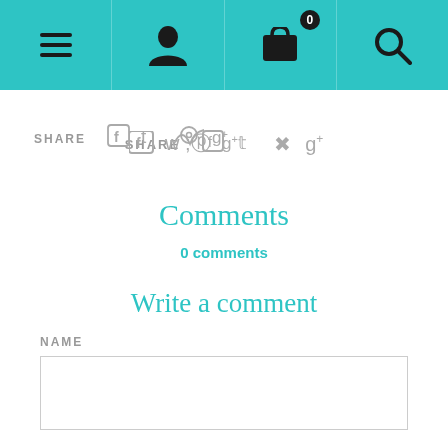[Figure (screenshot): Navigation bar with teal background containing hamburger menu, person/profile icon, shopping bag icon with badge showing 0, and search icon]
SHARE  f  t  p  g+
Comments
0 comments
Write a comment
NAME
[Name input field]